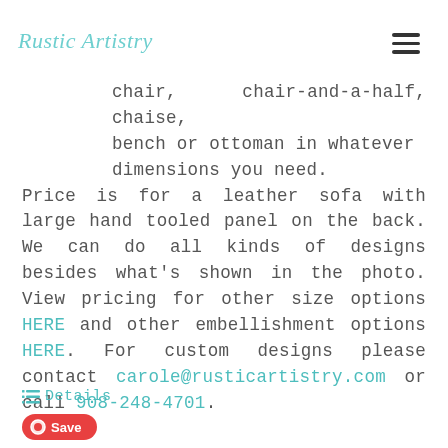Rustic Artistry
chair, chair-and-a-half, chaise, bench or ottoman in whatever dimensions you need. Price is for a leather sofa with large hand tooled panel on the back. We can do all kinds of designs besides what's shown in the photo. View pricing for other size options HERE and other embellishment options HERE. For custom designs please contact carole@rusticartistry.com or call 908-248-4701.
≡ Details